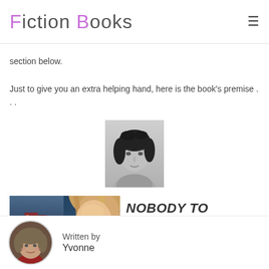Fiction Books
section below.
Just to give you an extra helping hand, here is the book's premise …
[Figure (photo): Black and white headshot portrait of a young woman with dark curly hair]
[Figure (photo): Book cover image showing a woman with blonde hair against an urban background with the title NOBODY TO CALL]
NOBODY TO CALL
Written by Yvonne